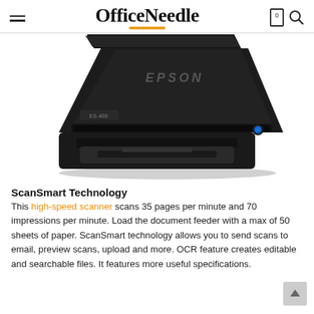OfficeNeedle
[Figure (photo): Epson ES-400 high-speed document scanner, black, shown at an angle with paper feeder tray open, on white background]
ScanSmart Technology
This high-speed scanner scans 35 pages per minute and 70 impressions per minute. Load the document feeder with a max of 50 sheets of paper. ScanSmart technology allows you to send scans to email, preview scans, upload and more. OCR feature creates editable and searchable files. It features more useful specifications.